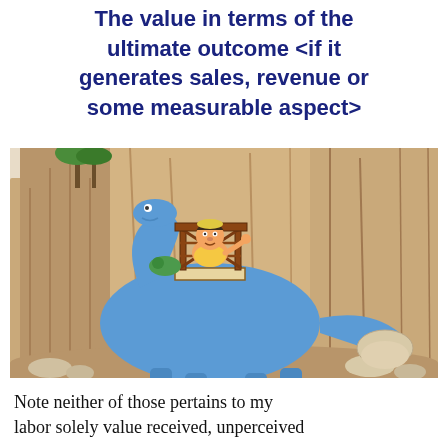The value in terms of the ultimate outcome <if it generates sales, revenue or some measurable aspect>
[Figure (illustration): A cartoon illustration from The Flintstones showing Fred Flintstone riding a blue brontosaurus dinosaur (Dino) that is pulling or operating some kind of wooden crane/machine structure, set against a rocky prehistoric cliff background with palm trees.]
Note neither of those pertains to my labor solely value received, unperceived